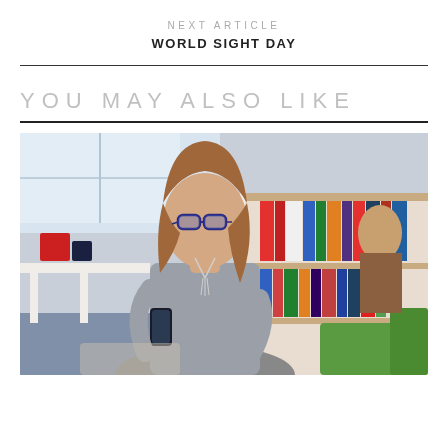NEXT ARTICLE
WORLD SIGHT DAY
YOU MAY ALSO LIKE
[Figure (photo): A woman with glasses and long hair wearing a grey sleeveless top sits in a library or office space, holding a smartphone, with bookshelves visible behind her.]